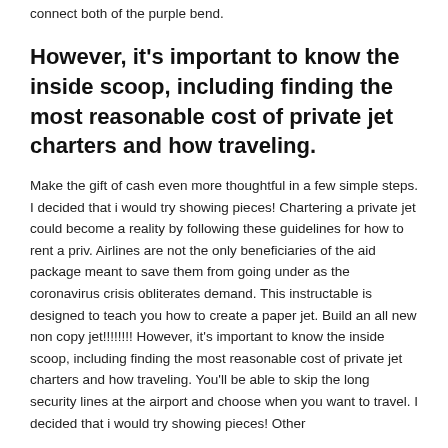connect both of the purple bend.
However, it's important to know the inside scoop, including finding the most reasonable cost of private jet charters and how traveling.
Make the gift of cash even more thoughtful in a few simple steps. I decided that i would try showing pieces! Chartering a private jet could become a reality by following these guidelines for how to rent a priv. Airlines are not the only beneficiaries of the aid package meant to save them from going under as the coronavirus crisis obliterates demand. This instructable is designed to teach you how to create a paper jet. Build an all new non copy jet!!!!!!!! However, it's important to know the inside scoop, including finding the most reasonable cost of private jet charters and how traveling. You'll be able to skip the long security lines at the airport and choose when you want to travel. I decided that i would try showing pieces! Other